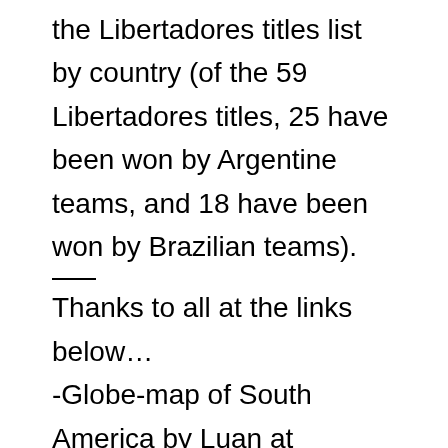the Libertadores titles list by country (of the 59 Libertadores titles, 25 have been won by Argentine teams, and 18 have been won by Brazilian teams).
Thanks to all at the links below…
-Globe-map of South America by Luan at File:South America (orthographic projection).svg (en.wikipedia.org/[South America]).
-Blank map of South